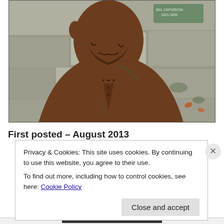[Figure (photo): Close-up photo of a bronze statue of a bearded man in a jacket and bow tie, set against a stone wall background. A small plaque is visible in the upper right corner.]
First posted – August 2013
Privacy & Cookies: This site uses cookies. By continuing to use this website, you agree to their use.
To find out more, including how to control cookies, see here: Cookie Policy